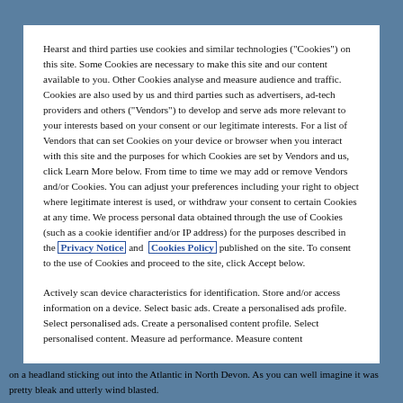Hearst and third parties use cookies and similar technologies ("Cookies") on this site. Some Cookies are necessary to make this site and our content available to you. Other Cookies analyse and measure audience and traffic. Cookies are also used by us and third parties such as advertisers, ad-tech providers and others ("Vendors") to develop and serve ads more relevant to your interests based on your consent or our legitimate interests. For a list of Vendors that can set Cookies on your device or browser when you interact with this site and the purposes for which Cookies are set by Vendors and us, click Learn More below. From time to time we may add or remove Vendors and/or Cookies. You can adjust your preferences including your right to object where legitimate interest is used, or withdraw your consent to certain Cookies at any time. We process personal data obtained through the use of Cookies (such as a cookie identifier and/or IP address) for the purposes described in the Privacy Notice and Cookies Policy published on the site. To consent to the use of Cookies and proceed to the site, click Accept below.
Actively scan device characteristics for identification. Store and/or access information on a device. Select basic ads. Create a personalised ads profile. Select personalised ads. Create a personalised content profile. Select personalised content. Measure ad performance. Measure content on a headland sticking out into the Atlantic in North Devon. As you can well imagine it was pretty bleak and utterly wind blasted.